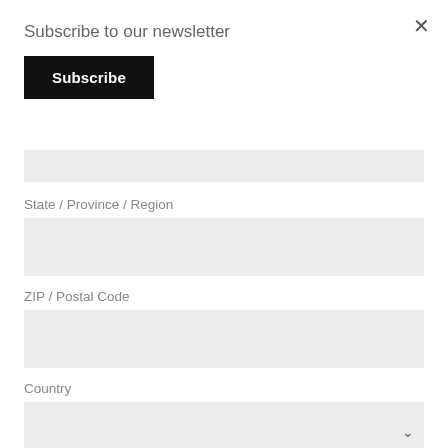Subscribe to our newsletter
[Figure (screenshot): Black Subscribe button]
State / Province / Region
[Figure (screenshot): Gray input field for State/Province/Region]
ZIP / Postal Code
[Figure (screenshot): Gray input field for ZIP/Postal Code]
Country
[Figure (screenshot): Gray dropdown field for Country with down arrow]